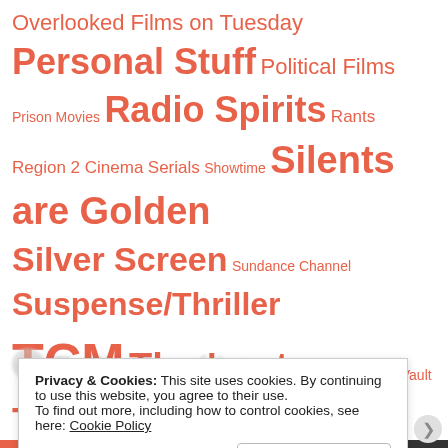Overlooked Films on Tuesday Personal Stuff Political Films Prison Movies Radio Spirits Rants Region 2 Cinema Serials Showtime Silents are Golden Silver Screen Sundance Channel Suspense/Thriller TCM The 'rents The Sprocket Vault Two-reel Wonders VCI Warner Archive Western Movies WTF YouTube
Thrilling Days of Yesteryear
Privacy & Cookies: This site uses cookies. By continuing to use this website, you agree to their use.
To find out more, including how to control cookies, see here: Cookie Policy
Close and accept